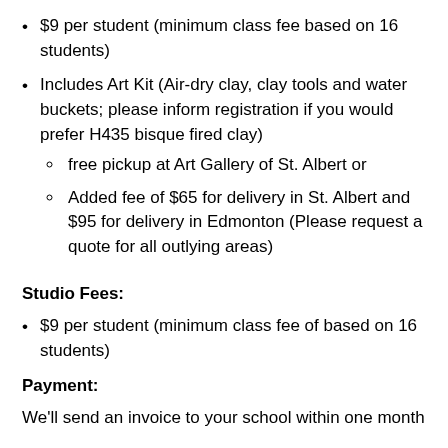$9 per student (minimum class fee based on 16 students)
Includes Art Kit (Air-dry clay, clay tools and water buckets; please inform registration if you would prefer H435 bisque fired clay)
free pickup at Art Gallery of St. Albert or
Added fee of $65 for delivery in St. Albert and $95 for delivery in Edmonton (Please request a quote for all outlying areas)
Studio Fees:
$9 per student (minimum class fee of based on 16 students)
Payment:
We'll send an invoice to your school within one month